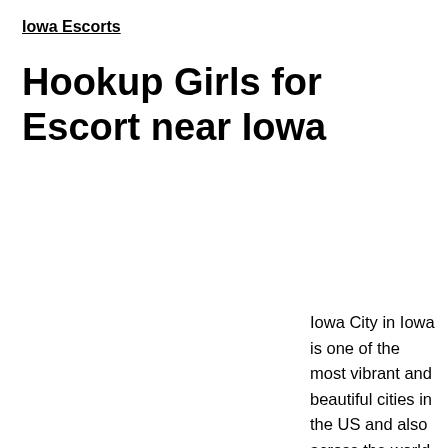Iowa Escorts
Hookup Girls for Escort near Iowa
Iowa City in Iowa is one of the most vibrant and beautiful cities in the US and also across the world. The city is so amazing and happening